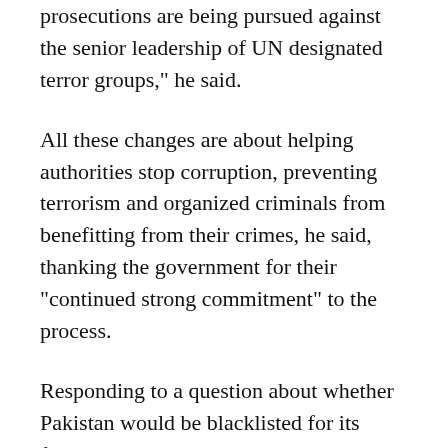prosecutions are being pursued against the senior leadership of UN designated terror groups,” he said.
All these changes are about helping authorities stop corruption, preventing terrorism and organized criminals from benefitting from their crimes, he said, thanking the government for their “continued strong commitment” to the process.
Responding to a question about whether Pakistan would be blacklisted for its failure to act against those on the UN terrorism list, Dr Pleyer said that the country had completed 30 items out of 34 on two action plans.
“This shows the clear commitment of the Pakistani government so there is no discussion on blacklisting Pakistan and the FATF urges the country to address